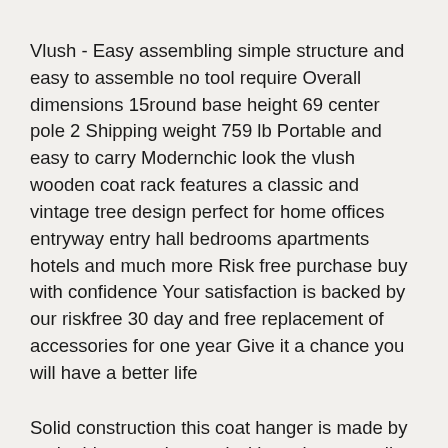Vlush - Easy assembling simple structure and easy to assemble no tool require Overall dimensions 15round base height 69 center pole 2 Shipping weight 759 lb Portable and easy to carry Modernchic look the vlush wooden coat rack features a classic and vintage tree design perfect for home offices entryway entry hall bedrooms apartments hotels and much more Risk free purchase buy with confidence Your satisfaction is backed by our riskfree 30 day and free replacement of accessories for one year Give it a chance you will have a better life
Solid construction this coat hanger is made by real rubber wood coated with environmentally friendly lacquer which is waterproof anticorrosion and nontoxic Widened 2